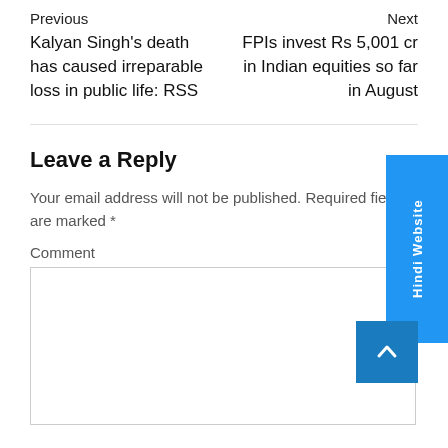Previous
Next
Kalyan Singh’s death has caused irreparable loss in public life: RSS
FPIs invest Rs 5,001 cr in Indian equities so far in August
Leave a Reply
Your email address will not be published. Required fields are marked *
Comment